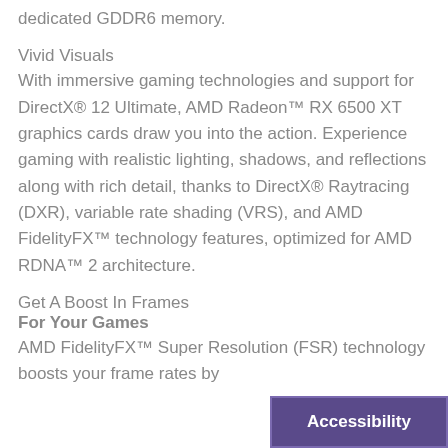dedicated GDDR6 memory.
Vivid Visuals
With immersive gaming technologies and support for DirectX® 12 Ultimate, AMD Radeon™ RX 6500 XT graphics cards draw you into the action. Experience gaming with realistic lighting, shadows, and reflections along with rich detail, thanks to DirectX® Raytracing (DXR), variable rate shading (VRS), and AMD FidelityFX™ technology features, optimized for AMD RDNA™ 2 architecture.
Get A Boost In Frames
For Your Games
AMD FidelityFX™ Super Resolution (FSR) technology boosts your frame rates by